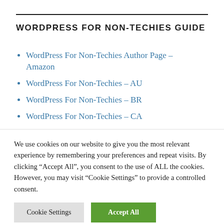WORDPRESS FOR NON-TECHIES GUIDE
WordPress For Non-Techies Author Page – Amazon
WordPress For Non-Techies – AU
WordPress For Non-Techies – BR
WordPress For Non-Techies – CA
WordPress For Non-Techies – DE
We use cookies on our website to give you the most relevant experience by remembering your preferences and repeat visits. By clicking "Accept All", you consent to the use of ALL the cookies. However, you may visit "Cookie Settings" to provide a controlled consent.